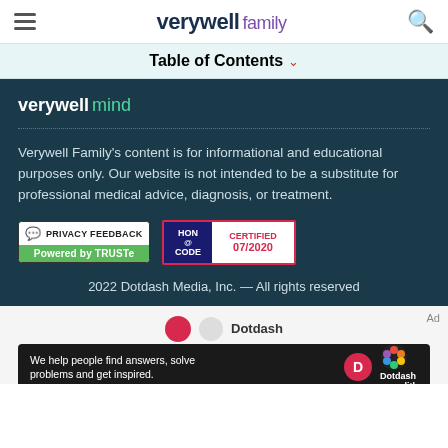verywell family
Table of Contents
[Figure (logo): Verywell Mind logo in white and green on dark teal background]
Verywell Family's content is for informational and educational purposes only. Our website is not intended to be a substitute for professional medical advice, diagnosis, or treatment.
[Figure (other): Privacy Feedback badge powered by TRUSTe]
[Figure (other): HON Code Certified 07/2020 badge]
2022 Dotdash Media, Inc. — All rights reserved
[Figure (other): Dotdash Meredith advertisement banner: We help people find answers, solve problems and get inspired.]